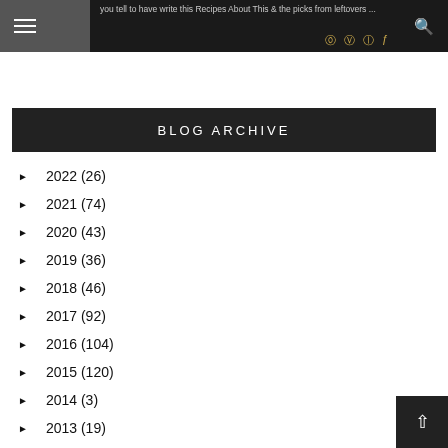you tell to have write this Recipes About This & … the picks from leftovers …
BLOG ARCHIVE
► 2022 (26)
► 2021 (74)
► 2020 (43)
► 2019 (36)
► 2018 (46)
► 2017 (92)
► 2016 (104)
► 2015 (120)
► 2014 (3)
► 2013 (19)
► 2012 (50)